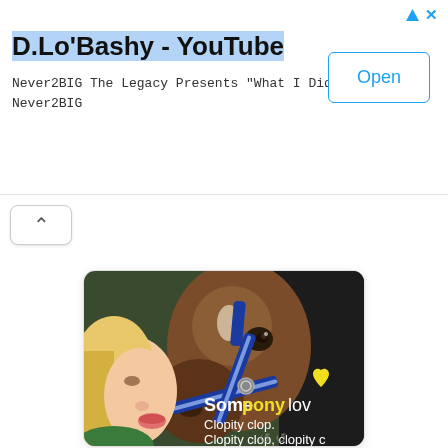D.Lo'Bashy - YouTube
Never2BIG The Legacy Presents "What I Did" Never2BIG
[Figure (screenshot): Open button with blue border and text 'Open' in blue, positioned to the right of the ad]
[Figure (photo): Photo of a young girl kissing a brown horse wearing a blue halter. Text overlay reads 'Somepony lov' and 'Clopity clop. Clopity clop, clopity c' in white and yellow text.]